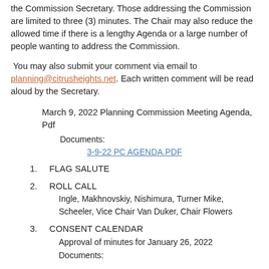the Commission Secretary. Those addressing the Commission are limited to three (3) minutes. The Chair may also reduce the allowed time if there is a lengthy Agenda or a large number of people wanting to address the Commission.
You may also submit your comment via email to planning@citrusheights.net. Each written comment will be read aloud by the Secretary.
March 9, 2022 Planning Commission Meeting Agenda, Pdf
Documents:
3-9-22 PC AGENDA.PDF
1.  FLAG SALUTE
2.  ROLL CALL
Ingle, Makhnovskiy, Nishimura, Turner Mike, Scheeler, Vice Chair Van Duker, Chair Flowers
3.  CONSENT CALENDAR
Approval of minutes for January 26, 2022
Documents: